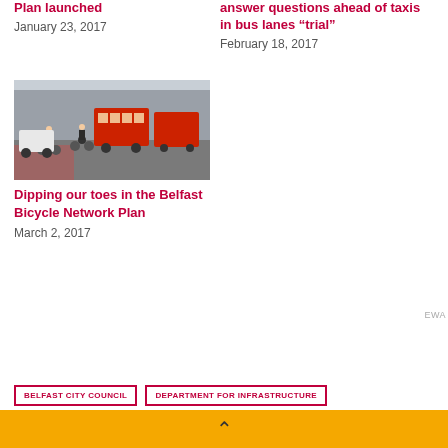Plan launched
January 23, 2017
answer questions ahead of taxis in bus lanes “trial”
February 18, 2017
[Figure (photo): Street scene with cyclists and red double-decker buses on a busy urban road with a cycle lane]
Dipping our toes in the Belfast Bicycle Network Plan
March 2, 2017
BELFAST CITY COUNCIL
DEPARTMENT FOR INFRASTRUCTURE